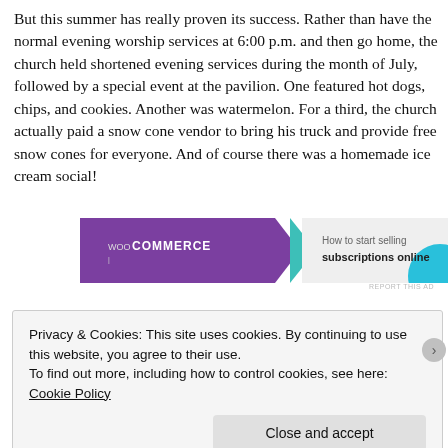But this summer has really proven its success. Rather than have the normal evening worship services at 6:00 p.m. and then go home, the church held shortened evening services during the month of July, followed by a special event at the pavilion. One featured hot dogs, chips, and cookies. Another was watermelon. For a third, the church actually paid a snow cone vendor to bring his truck and provide free snow cones for everyone. And of course there was a homemade ice cream social!
[Figure (screenshot): WooCommerce advertisement banner: purple left panel with WooCommerce logo, teal arrow divider, right panel with text 'How to start selling subscriptions online' and teal circle graphic]
Privacy & Cookies: This site uses cookies. By continuing to use this website, you agree to their use.
To find out more, including how to control cookies, see here: Cookie Policy
Close and accept